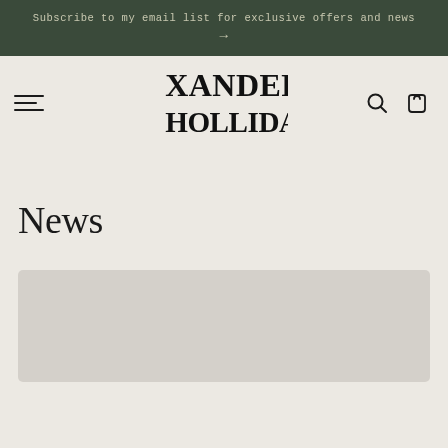Subscribe to my email list for exclusive offers and news →
[Figure (logo): Xander Holliday brand logo in bold decorative Art Nouveau style black lettering on light background]
News
[Figure (photo): Gray placeholder image card at the bottom of the page]